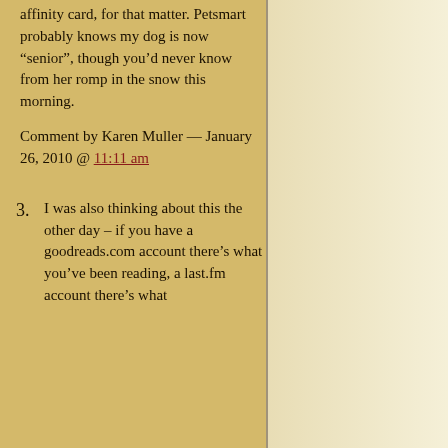affinity card, for that matter. Petsmart probably knows my dog is now “senior”, though you’d never know from her romp in the snow this morning.
Comment by Karen Muller — January 26, 2010 @ 11:11 am
3. I was also thinking about this the other day – if you have a goodreads.com account there’s what you’ve been reading, a last.fm account there’s what you’ve been...